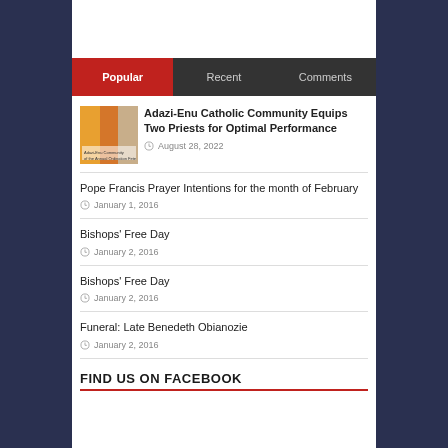Popular | Recent | Comments
Adazi-Enu Catholic Community Equips Two Priests for Optimal Performance
August 28, 2022
Pope Francis Prayer Intentions for the month of February
January 1, 2016
Bishops' Free Day
January 2, 2016
Bishops' Free Day
January 2, 2016
Funeral: Late Benedeth Obianozie
January 2, 2016
FIND US ON FACEBOOK